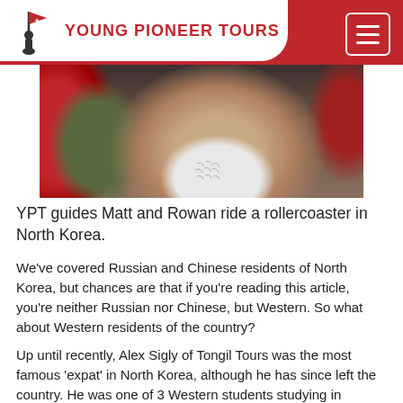YPT YOUNG PIONEER TOURS
[Figure (photo): Close-up photo of two people on a rollercoaster. One person is wearing a white sleeveless undershirt showing chest hair, another is in a red jacket. Rollercoaster safety bar visible in the foreground.]
YPT guides Matt and Rowan ride a rollercoaster in North Korea.
We've covered Russian and Chinese residents of North Korea, but chances are that if you're reading this article, you're neither Russian nor Chinese, but Western. So what about Western residents of the country?
Up until recently, Alex Sigly of Tongil Tours was the most famous 'expat' in North Korea, although he has since left the country. He was one of 3 Western students studying in